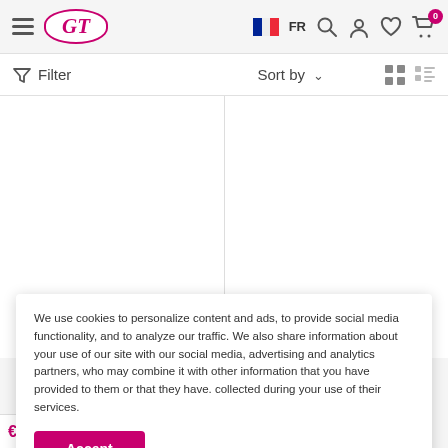[Figure (screenshot): E-commerce website header with hamburger menu, GT logo (oval border, magenta italic text), French flag icon, FR label, search icon, account icon, wishlist icon, cart icon with badge showing 0]
Filter   Sort by   (grid/list view toggle icons)
[Figure (screenshot): Two-column product grid area with white product cells, largely blank/loading]
We use cookies to personalize content and ads, to provide social media functionality, and to analyze our traffic. We also share information about your use of our site with our social media, advertising and analytics partners, who may combine it with other information that you have provided to them or that they have. collected during your use of their services.
Accept
€20.99
Treatment Mask